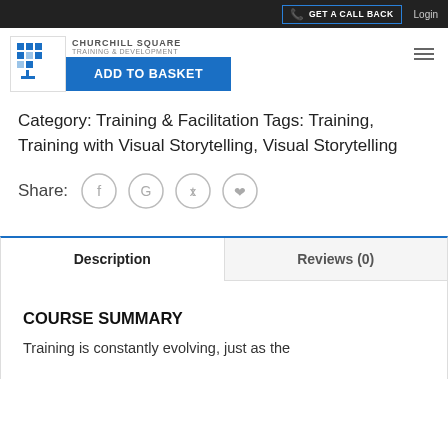GET A CALL BACK  Login
[Figure (logo): Churchill Square Training & Development logo with blue grid icon]
ADD TO BASKET
Category: Training & Facilitation Tags: Training, Training with Visual Storytelling, Visual Storytelling
Share:
[Figure (infographic): Social share icons: Facebook, Google, Twitter, Pinterest]
Description
Reviews (0)
COURSE SUMMARY
Training is constantly evolving, just as the